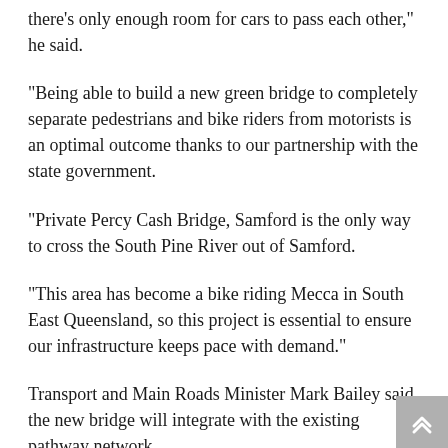there's only enough room for cars to pass each other," he said.
"Being able to build a new green bridge to completely separate pedestrians and bike riders from motorists is an optimal outcome thanks to our partnership with the state government.
"Private Percy Cash Bridge, Samford is the only way to cross the South Pine River out of Samford.
"This area has become a bike riding Mecca in South East Queensland, so this project is essential to ensure our infrastructure keeps pace with demand."
Transport and Main Roads Minister Mark Bailey said the new bridge will integrate with the existing pathway network.
"This new three-metre-wide pedestrian and bike bridge will